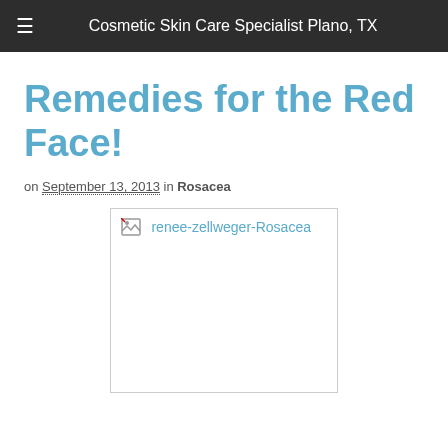Cosmetic Skin Care Specialist Plano, TX
Remedies for the Red Face!
on September 13, 2013 in Rosacea
[Figure (photo): Broken image placeholder labeled renee-zellweger-Rosacea]